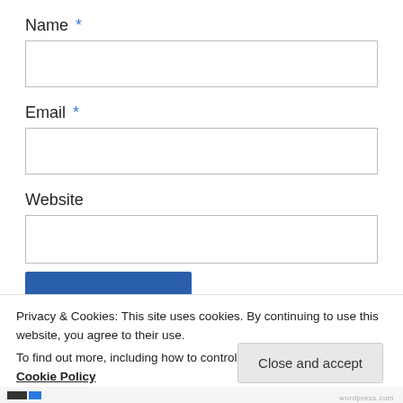Name *
Email *
Website
Privacy & Cookies: This site uses cookies. By continuing to use this website, you agree to their use.
To find out more, including how to control cookies, see here:
Cookie Policy
Close and accept